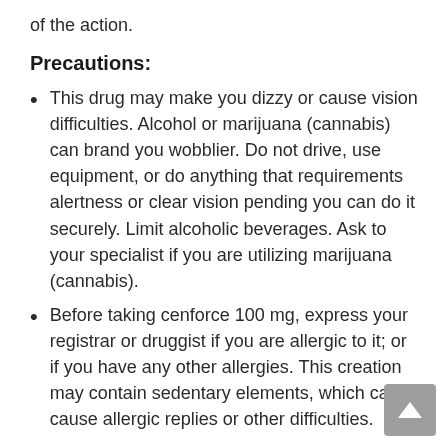of the action.
Precautions:
This drug may make you dizzy or cause vision difficulties. Alcohol or marijuana (cannabis) can brand you wobblier. Do not drive, use equipment, or do anything that requirements alertness or clear vision pending you can do it securely. Limit alcoholic beverages. Ask to your specialist if you are utilizing marijuana (cannabis).
Before taking cenforce 100 mg, express your registrar or druggist if you are allergic to it; or if you have any other allergies. This creation may contain sedentary elements, which can cause allergic replies or other difficulties.